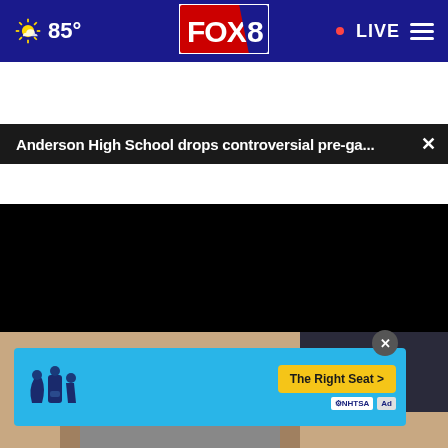[Figure (screenshot): FOX 8 news website navigation bar with weather icon showing partly cloudy, 85° temperature, FOX 8 logo in center, LIVE button with red dot, and hamburger menu on right, all on dark blue background]
Anderson High School drops controversial pre-ga...  ×
[Figure (screenshot): Black video player area with play button, mute button, and fullscreen button controls at the bottom]
[Figure (photo): Partial view of a person's ankle/leg area with what appears to be sports/athletic clothing, dark fabric visible in background]
[Figure (infographic): NHTSA advertisement with blue background showing car seat safety icons (infant, convertible, booster seats), The Right Seat > call to action button in yellow, and NHTSA logo]